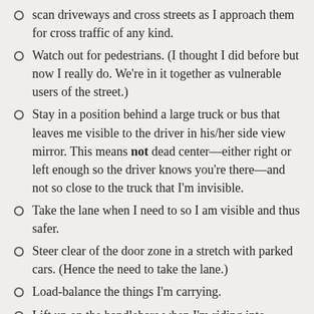scan driveways and cross streets as I approach them for cross traffic of any kind.
Watch out for pedestrians. (I thought I did before but now I really do. We're in it together as vulnerable users of the street.)
Stay in a position behind a large truck or bus that leaves me visible to the driver in his/her side view mirror. This means not dead center—either right or left enough so the driver knows you're there—and not so close to the truck that I'm invisible.
Take the lane when I need to so I am visible and thus safer.
Steer clear of the door zone in a stretch with parked cars. (Hence the need to take the lane.)
Load-balance the things I'm carrying.
Lift up on the handlebars when I'm riding into